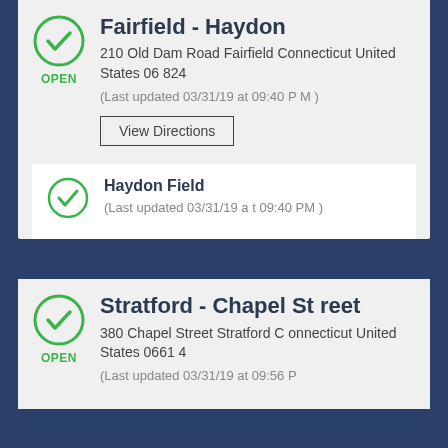Fairfield - Haydon
210 Old Dam Road Fairfield Connecticut United States 06 824
(Last updated 03/31/19 at 09:40 P M )
View Directions
Haydon Field
(Last updated 03/31/19 at 09:40 PM )
Stratford - Chapel St reet
380 Chapel Street Stratford Connecticut United States 06614
(Last updated 03/31/19 at 09:56 P